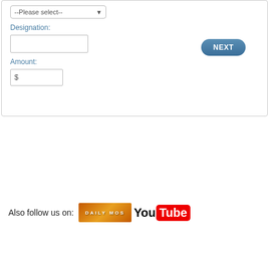--Please select--
Designation:
Amount:
NEXT
Also follow us on: